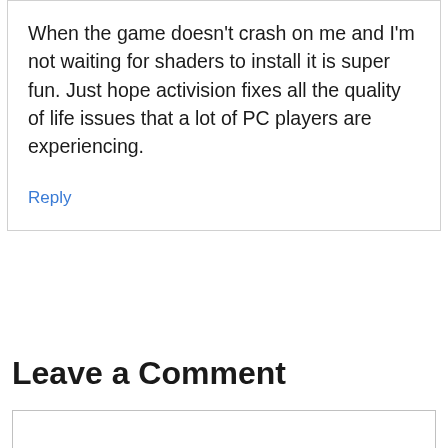When the game doesn't crash on me and I'm not waiting for shaders to install it is super fun. Just hope activision fixes all the quality of life issues that a lot of PC players are experiencing.
Reply
Leave a Comment